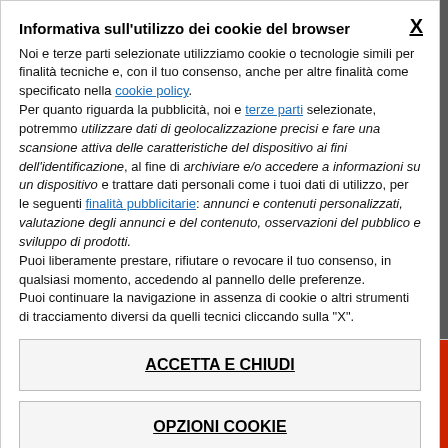Informativa sull'utilizzo dei cookie del browser
Noi e terze parti selezionate utilizziamo cookie o tecnologie simili per finalità tecniche e, con il tuo consenso, anche per altre finalità come specificato nella cookie policy. Per quanto riguarda la pubblicità, noi e terze parti selezionate, potremmo utilizzare dati di geolocalizzazione precisi e fare una scansione attiva delle caratteristiche del dispositivo ai fini dell'identificazione, al fine di archiviare e/o accedere a informazioni su un dispositivo e trattare dati personali come i tuoi dati di utilizzo, per le seguenti finalità pubblicitarie: annunci e contenuti personalizzati, valutazione degli annunci e del contenuto, osservazioni del pubblico e sviluppo di prodotti. Puoi liberamente prestare, rifiutare o revocare il tuo consenso, in qualsiasi momento, accedendo al pannello delle preferenze. Puoi continuare la navigazione in assenza di cookie o altri strumenti di tracciamento diversi da quelli tecnici cliccando sulla "X".
ACCETTA E CHIUDI
OPZIONI COOKIE
onto."